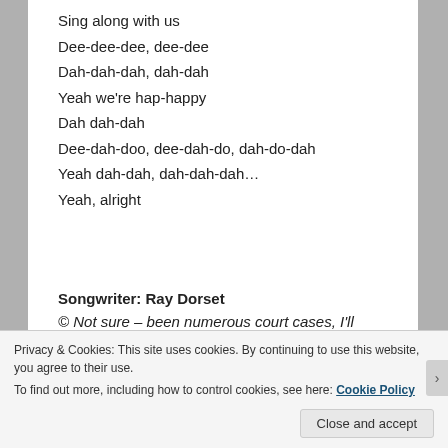Sing along with us
Dee-dee-dee, dee-dee
Dah-dah-dah, dah-dah
Yeah we're hap-happy
Dah dah-dah
Dee-dah-doo, dee-dah-do, dah-do-dah
Yeah dah-dah, dah-dah-dah…
Yeah, alright
Songwriter: Ray Dorset
© Not sure – been numerous court cases, I'll leave it at that
Privacy & Cookies: This site uses cookies. By continuing to use this website, you agree to their use.
To find out more, including how to control cookies, see here: Cookie Policy